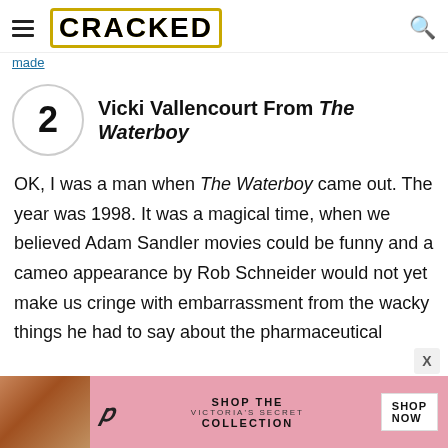CRACKED
made
2 Vicki Vallencourt From The Waterboy
OK, I was a man when The Waterboy came out. The year was 1998. It was a magical time, when we believed Adam Sandler movies could be funny and a cameo appearance by Rob Schneider would not yet make us cringe with embarrassment from the wacky things he had to say about the pharmaceutical
[Figure (other): Victoria's Secret advertisement banner with model photo, VS logo, 'SHOP THE COLLECTION' text, and 'SHOP NOW' button]